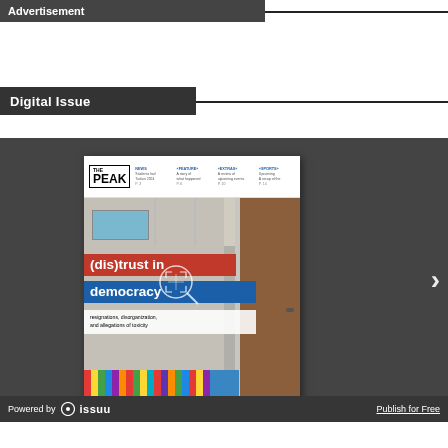Advertisement
Digital Issue
[Figure (photo): Digital issue viewer showing The Peak magazine cover with '(dis)trust in democracy' headline, with resignations, disorganization, and allegations of toxicity subheadline. Magazine cover shows office interior with colorful books. Viewer has a right navigation arrow. Bottom bar shows 'Powered by issuu' and 'Publish for Free'.]